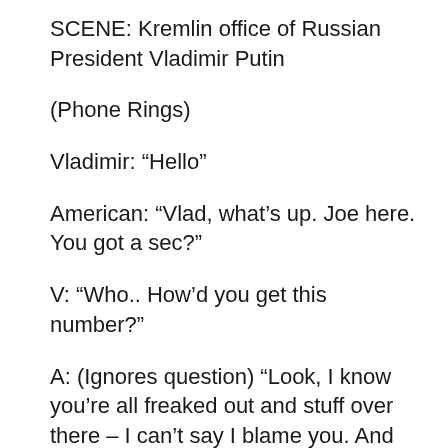SCENE: Kremlin office of Russian President Vladimir Putin
(Phone Rings)
Vladimir: “Hello”
American: “Vlad, what’s up. Joe here. You got a sec?”
V: “Who.. How’d you get this number?”
A: (Ignores question) “Look, I know you’re all freaked out and stuff over there – I can’t say I blame you. And Lord knows you got your ways of dealing with these things – you KGB